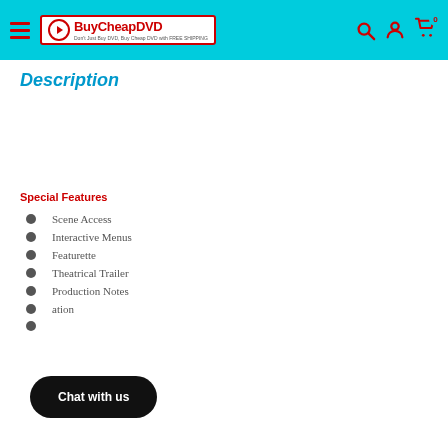BuyCheapDVD — Don't Just Buy DVD, Buy Cheap DVD with FREE SHIPPING
Description
Special Features
Scene Access
Interactive Menus
Featurette
Theatrical Trailer
Production Notes
ation